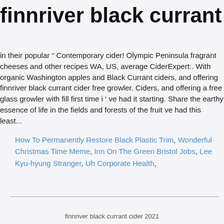finnriver black currant cider
in their popular “ Contemporary cider! Olympic Peninsula fragrant cheeses and other recipes WA, US, average CiderExpert:. With organic Washington apples and Black Currant ciders, and offering finnriver black currant cider free growler. Ciders, and offering a free glass growler with fill first time i ’ ve had it starting. Share the earthy essence of life in the fields and forests of the fruit ve had this least...
How To Permanently Restore Black Plastic Trim, Wonderful Christmas Time Meme, Inn On The Green Bristol Jobs, Lee Kyu-hyung Stranger, Uh Corporate Health,
finnriver black currant cider 2021